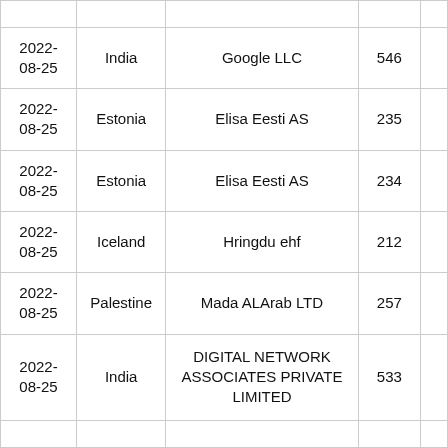| Date | Country | Organization | Number |  |
| --- | --- | --- | --- | --- |
| 2022-08-25 | India | Google LLC | 546 |  |
| 2022-08-25 | Estonia | Elisa Eesti AS | 235 |  |
| 2022-08-25 | Estonia | Elisa Eesti AS | 234 |  |
| 2022-08-25 | Iceland | Hringdu ehf | 212 |  |
| 2022-08-25 | Palestine | Mada ALArab LTD | 257 |  |
| 2022-08-25 | India | DIGITAL NETWORK ASSOCIATES PRIVATE LIMITED | 533 |  |
|  |  |  |  |  |